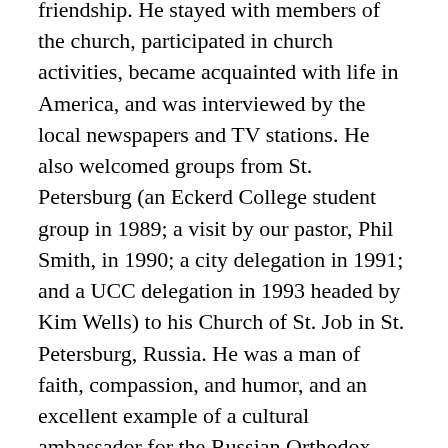friendship. He stayed with members of the church, participated in church activities, became acquainted with life in America, and was interviewed by the local newspapers and TV stations.  He also welcomed groups from St. Petersburg (an Eckerd College student group in 1989; a visit by our pastor, Phil Smith, in 1990; a city delegation in 1991; and a UCC delegation in 1993 headed by Kim Wells) to his Church of St. Job in St. Petersburg, Russia.  He was a man of faith, compassion, and humor, and an excellent example of a cultural ambassador for the Russian Orthodox Church.
It is with sadness that I report that Father Adrian passed away on October 8, 2019, at the age of 82.  Kay and I had visited with him in